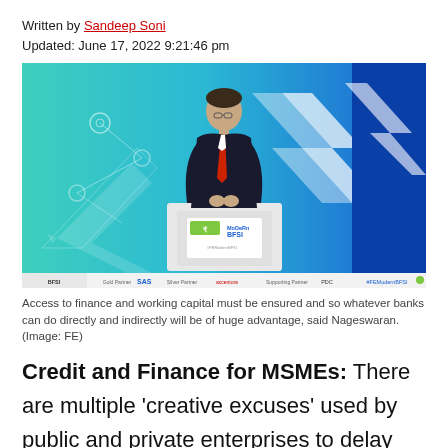Written by Sandeep Soni
Updated: June 17, 2022 9:21:46 pm
[Figure (photo): A man in a dark suit and red tie speaking at a podium at the FE Modern BFSI event, with a teal and blue geometric background and sponsor logos along the bottom.]
Access to finance and working capital must be ensured and so whatever banks can do directly and indirectly will be of huge advantage, said Nageswaran. (Image: FE)
Credit and Finance for MSMEs: There are multiple 'creative excuses' used by public and private enterprises to delay supplier payments and hence